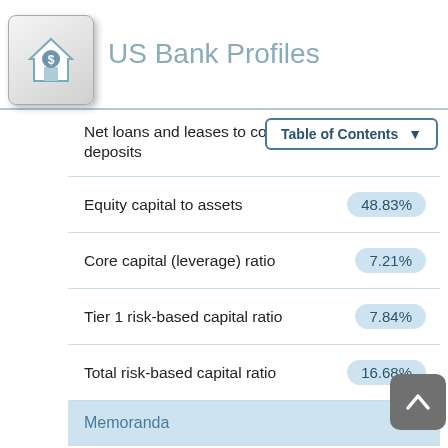US Bank Profiles
| Metric | Value |
| --- | --- |
| Net loans and leases to core deposits |  |
| Equity capital to assets | 48.83% |
| Core capital (leverage) ratio | 7.21% |
| Tier 1 risk-based capital ratio | 7.84% |
| Total risk-based capital ratio | 16.68% |
| Memoranda |  |
| Average assets | $18 |
| Average earning assets | $17,28 |